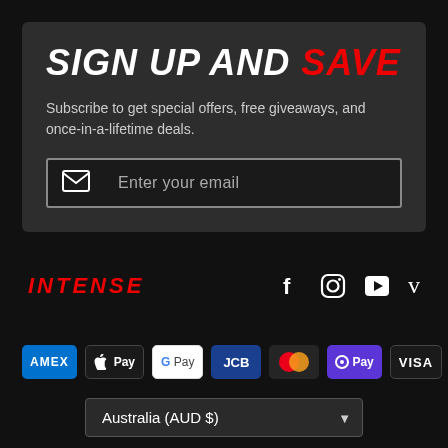SIGN UP AND SAVE
Subscribe to get special offers, free giveaways, and once-in-a-lifetime deals.
Enter your email
[Figure (logo): INTENSE brand logo in red italic uppercase text]
[Figure (infographic): Social media icons: Facebook, Instagram, YouTube, Vimeo]
[Figure (infographic): Payment method badges: AMEX, Apple Pay, Google Pay, JCB, Mastercard, OPay, VISA]
Australia (AUD $)